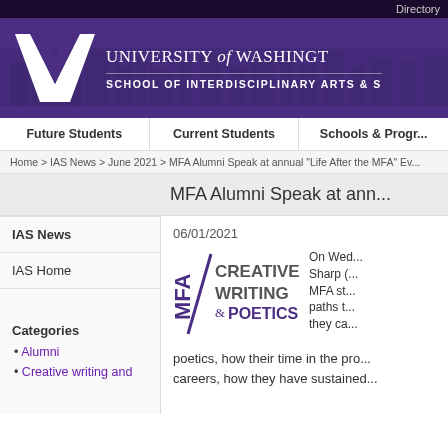Directory
[Figure (logo): University of Washington W logo with text: UNIVERSITY of WASHINGTON, SCHOOL OF INTERDISCIPLINARY ARTS & S...]
Future Students | Current Students | Schools & Programs
Home > IAS News > June 2021 > MFA Alumni Speak at annual "Life After the MFA" Ev...
MFA Alumni Speak at ann...
IAS News
IAS Home
Categories
Alumni
Creative writing and ...
06/01/2021
[Figure (logo): MFA Creative Writing & Poetics logo in purple]
On Wed... Sharp (... MFA st... paths t... they ca...
poetics, how their time in the pro... careers, how they have sustained...